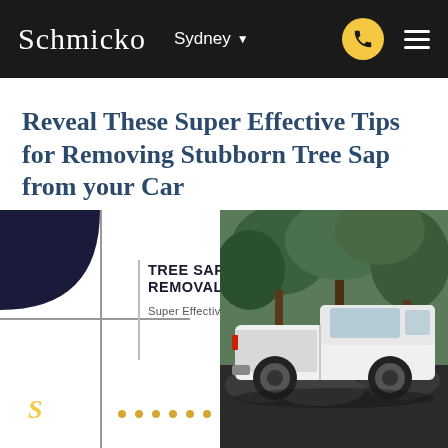Schmicko  Sydney
Reveal These Super Effective Tips for Removing Stubborn Tree Sap from your Car
[Figure (infographic): Schmicko branded infographic panel with navy quarter-circle, cross lines, gold dots, bold text 'TREE SAP REMOVAL' and subtext 'Super Effective Tips', alongside a photo of a white pickup truck parked outdoors among trees.]